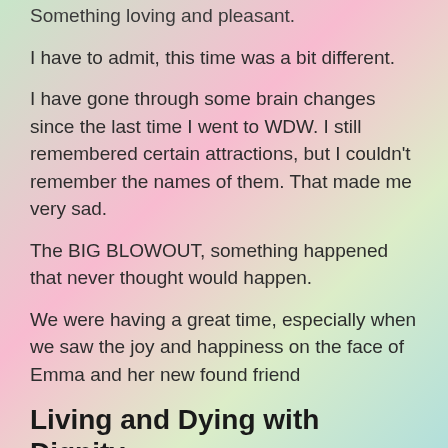Something loving and pleasant.
I have to admit, this time was a bit different.
I have gone through some brain changes since the last time I went to WDW. I still remembered certain attractions, but I couldn't remember the names of them. That made me very sad.
The BIG BLOWOUT, something happened that never thought would happen.
We were having a great time, especially when we saw the joy and happiness on the face of Emma and her new found friend
Living and Dying with Dignity
We were having a great time, especially when we